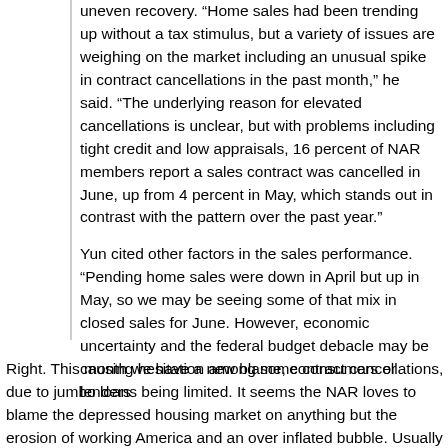uneven recovery. “Home sales had been trending up without a tax stimulus, but a variety of issues are weighing on the market including an unusual spike in contract cancellations in the past month,” he said. “The underlying reason for elevated cancellations is unclear, but with problems including tight credit and low appraisals, 16 percent of NAR members report a sales contract was cancelled in June, up from 4 percent in May, which stands out in contrast with the pattern over the past year.”
Yun cited other factors in the sales performance. “Pending home sales were down in April but up in May, so we may be seeing some of that mix in closed sales for June. However, economic uncertainty and the federal budget debacle may be causing hesitation among some consumers or lenders
Right. This month we have a new blame, contract cancellations, due to jumbo loans being limited. It seems the NAR loves to blame the depressed housing market on anything but the erosion of working America and an over inflated bubble. Usually the NAR